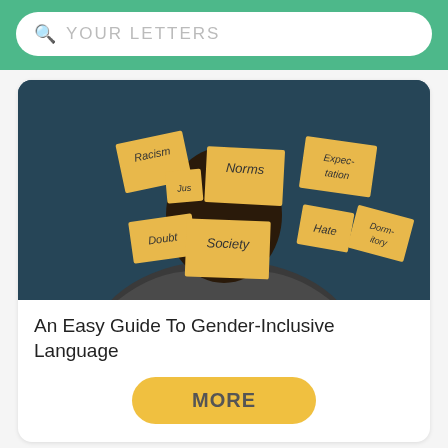YOUR LETTERS
[Figure (photo): Person with sticky notes on their face bearing words: Racism, Jus, Norms, Expectation, Doubt, Society, Hate, Dorm-itory (partially visible)]
An Easy Guide To Gender-Inclusive Language
MORE
Word Lists
Vowel Words